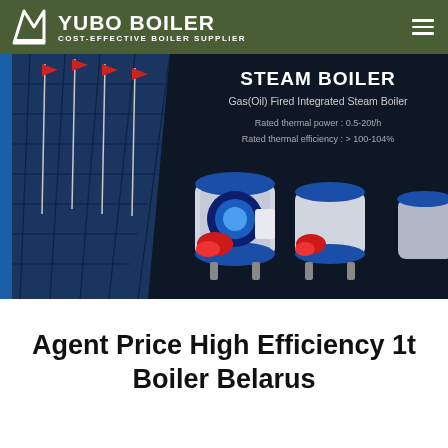YUBO BOILER — COST-EFFECTIVE BOILER SUPPLIER
[Figure (photo): Banner image showing steam boilers with text: STEAM BOILER, Gas(Oil) Fired Integrated Steam Boiler, Rated thermal power: 0.5-20t/h, Rated thermal efficiency: >100-104%. Background shows building facade with flagpoles and multiple industrial boiler units.]
Agent Price High Efficiency 1t Boiler Belarus